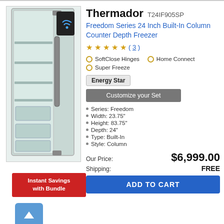[Figure (photo): Thermador built-in column freezer open showing interior shelves and drawers, with a smartphone/wifi icon in top right corner]
Instant Savings with Bundle
Thermador T24IF905SP
Freedom Series 24 Inch Built-In Column Counter Depth Freezer
★★★★★ ( 3 )
SoftClose Hinges
Home Connect
Super Freeze
Energy Star
Customize your Set
Series: Freedom
Width: 23.75"
Height: 83.75"
Depth: 24"
Type: Built-In
Style: Column
Our Price: $6,999.00
Shipping: FREE
ADD TO CART